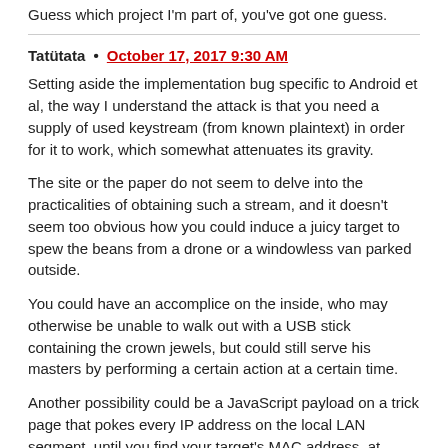Guess which project I'm part of, you've got one guess.
Tatütata • October 17, 2017 9:30 AM
Setting aside the implementation bug specific to Android et al, the way I understand the attack is that you need a supply of used keystream (from known plaintext) in order for it to work, which somewhat attenuates its gravity.

The site or the paper do not seem to delve into the practicalities of obtaining such a stream, and it doesn't seem too obvious how you could induce a juicy target to spew the beans from a drone or a windowless van parked outside.

You could have an accomplice on the inside, who may otherwise be unable to walk out with a USB stick containing the crown jewels, but could still serve his masters by performing a certain action at a certain time.

Another possibility could be a JavaScript payload on a trick page that pokes every IP address on the local LAN segment, until you find your target's MAC address, at which point you start shoving known data to it.